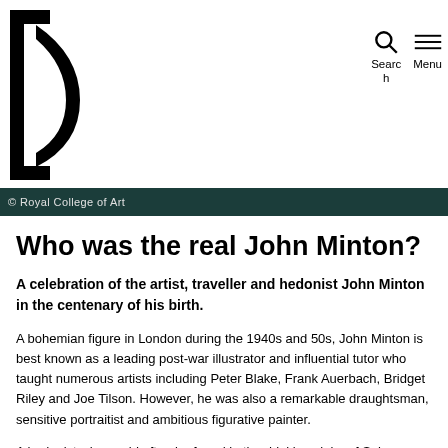© Royal College of Art
Who was the real John Minton?
A celebration of the artist, traveller and hedonist John Minton in the centenary of his birth.
A bohemian figure in London during the 1940s and 50s, John Minton is best known as a leading post-war illustrator and influential tutor who taught numerous artists including Peter Blake, Frank Auerbach, Bridget Riley and Joe Tilson. However, he was also a remarkable draughtsman, sensitive portraitist and ambitious figurative painter.
A hedonist who could often be found in the drinking clubs of Soho, Minton was plagued by melancholy. His complex